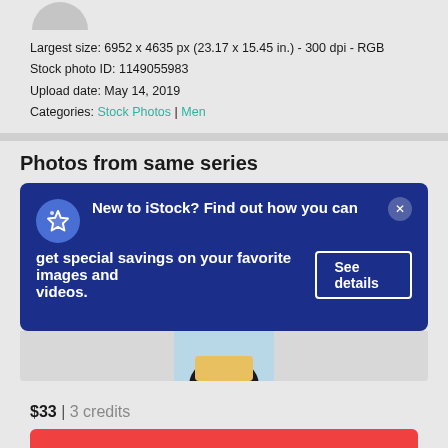[Figure (illustration): Partial gray avatar/profile circle at top of page]
Largest size: 6952 x 4635 px (23.17 x 15.45 in.) - 300 dpi - RGB
Stock photo ID: 1149055983
Upload date: May 14, 2019
Categories: Stock Photos | Men
Photos from same series
[Figure (screenshot): iStock promotional banner: New to iStock? Find out how you can get special savings on your favorite images and videos. See details button. Blue background with star icon.]
[Figure (photo): Partial photo preview showing top of person's head with dark curly hair and colorful clothing]
$33 | 3 credits
Continue with purchase